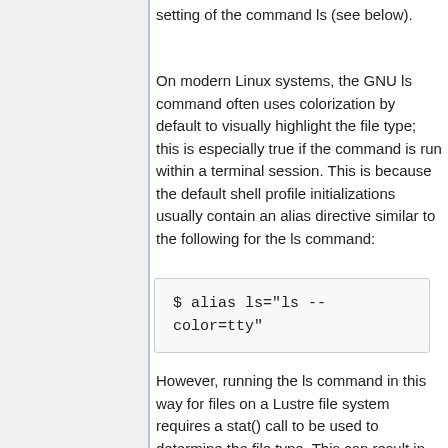setting of the command ls (see below).
On modern Linux systems, the GNU ls command often uses colorization by default to visually highlight the file type; this is especially true if the command is run within a terminal session. This is because the default shell profile initializations usually contain an alias directive similar to the following for the ls command:
$ alias ls="ls --
color=tty"
However, running the ls command in this way for files on a Lustre file system requires a stat() call to be used to determine the file type. This can result in